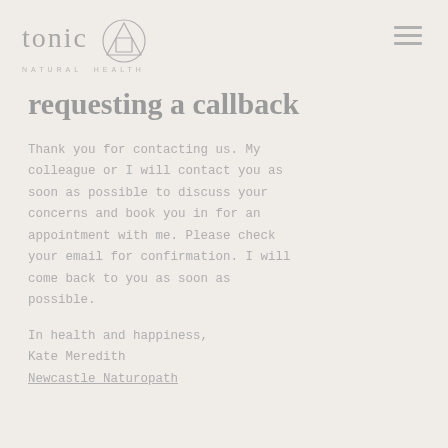tonic NATURAL HEALTH
requesting a callback
Thank you for contacting us. My colleague or I will contact you as soon as possible to discuss your concerns and book you in for an appointment with me. Please check your email for confirmation. I will come back to you as soon as possible.
In health and happiness,
Kate Meredith
Newcastle Naturopath